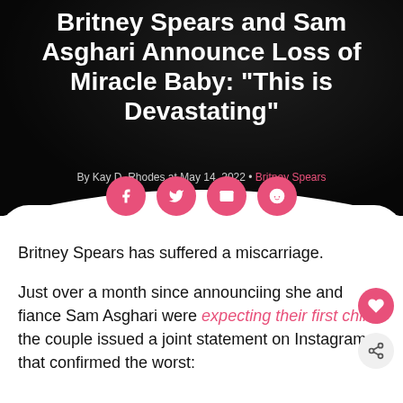[Figure (photo): Dark background hero image with blurred bokeh lighting, overlaid with dark semi-transparent gradient]
Britney Spears and Sam Asghari Announce Loss of Miracle Baby: "This is Devastating"
By Kay D. Rhodes at May 14, 2022 • Britney Spears
[Figure (infographic): Four pink circular social share buttons: Facebook, Twitter, Email, Reddit]
Britney Spears has suffered a miscarriage.
Just over a month since announciing she and fiance Sam Asghari were expecting their first child, the couple issued a joint statement on Instagram that confirmed the worst: